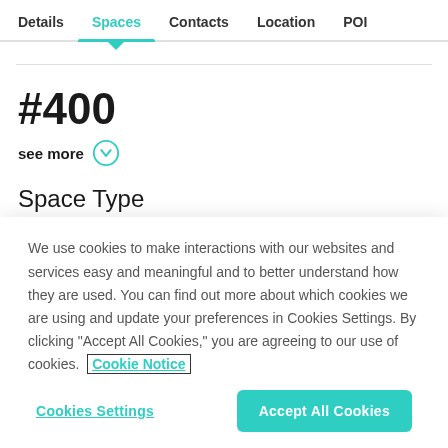Details | Spaces | Contacts | Location | POI
#400
see more
Space Type
We use cookies to make interactions with our websites and services easy and meaningful and to better understand how they are used. You can find out more about which cookies we are using and update your preferences in Cookies Settings. By clicking "Accept All Cookies," you are agreeing to our use of cookies.  Cookie Notice
Cookies Settings | Accept All Cookies